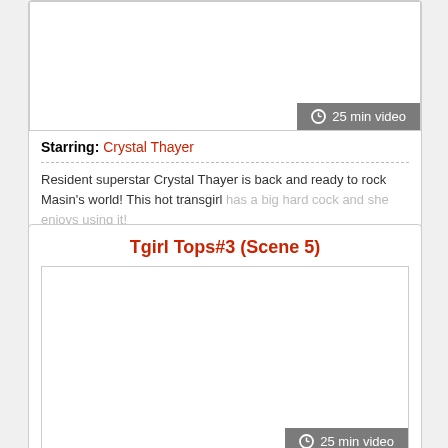[Figure (photo): Video thumbnail placeholder (white box) with '25 min video' badge at bottom right]
Starring: Crystal Thayer
Resident superstar Crystal Thayer is back and ready to rock Masin's world! This hot transgirl has a big hard cock and she enjoys using it!
Buy $5.00 [cart button]
Tgirl Tops#3 (Scene 5)
[Figure (photo): Video thumbnail placeholder (white box) with '25 min video' badge at bottom right]